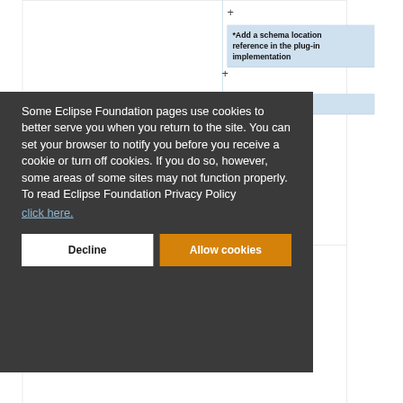[Figure (screenshot): Background page showing a table/list structure with blue highlighted cells. Top-right area has a '+' symbol and two highlighted blue boxes: '*Add a schema location reference in the plug-in implementation' and '**Create a new class'. Bottom area shows '</tt> to return package'.]
Some Eclipse Foundation pages use cookies to better serve you when you return to the site. You can set your browser to notify you before you receive a cookie or turn off cookies. If you do so, however, some areas of some sites may not function properly. To read Eclipse Foundation Privacy Policy click here.
Decline
Allow cookies